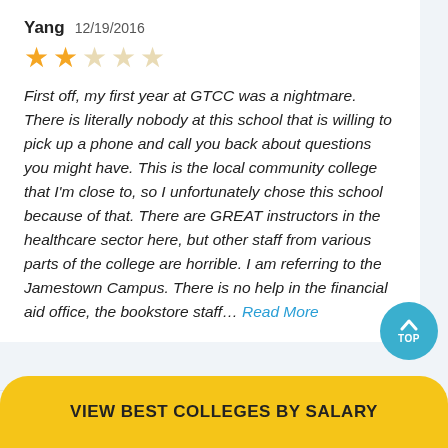Yang  12/19/2016
[Figure (other): 2 out of 5 stars rating: 2 filled gold stars and 3 empty/light stars]
First off, my first year at GTCC was a nightmare. There is literally nobody at this school that is willing to pick up a phone and call you back about questions you might have. This is the local community college that I'm close to, so I unfortunately chose this school because of that. There are GREAT instructors in the healthcare sector here, but other staff from various parts of the college are horrible. I am referring to the Jamestown Campus. There is no help in the financial aid office, the bookstore staff... Read More
VIEW BEST COLLEGES BY SALARY